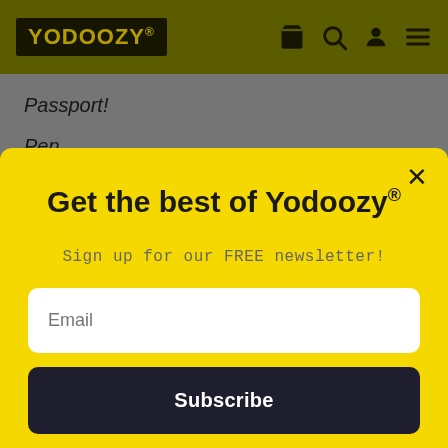YODOOZY®
Passport!
Pen
Get the best of Yodoozy®
Sign up for our FREE newsletter!
Email
Subscribe